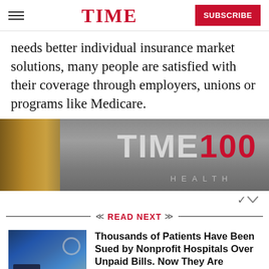TIME | SUBSCRIBE
needs better individual insurance market solutions, many people are satisfied with their coverage through employers, unions or programs like Medicare.
[Figure (photo): TIME 100 HEALTH banner image with metallic background showing TIME 100 logo in white and red, with HEALTH text below]
READ NEXT
[Figure (photo): Thumbnail image showing a calculator and stethoscope on a blue background]
Thousands of Patients Have Been Sued by Nonprofit Hospitals Over Unpaid Bills. Now They Are Fighting Back